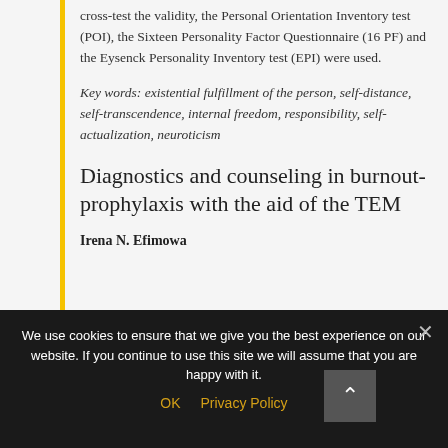cross-test the validity, the Personal Orientation Inventory test (POI), the Sixteen Personality Factor Questionnaire (16 PF) and the Eysenck Personality Inventory test (EPI) were used.
Key words: existential fulfillment of the person, self-distance, self-transcendence, internal freedom, responsibility, self-actualization, neuroticism
Diagnostics and counseling in burnout-prophylaxis with the aid of the TEM
Irena N. Efimowa